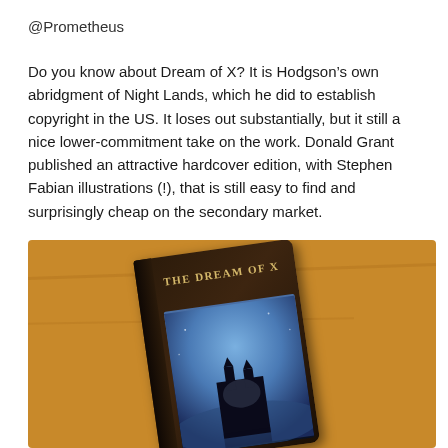@Prometheus
Do you know about Dream of X? It is Hodgson’s own abridgment of Night Lands, which he did to establish copyright in the US. It loses out substantially, but it still a nice lower-commitment take on the work. Donald Grant published an attractive hardcover edition, with Stephen Fabian illustrations (!), that is still easy to find and surprisingly cheap on the secondary market.
[Figure (photo): Photo of 'The Dream of X' hardcover book lying on a wooden surface. The book has a dark cover with gold title text reading 'THE DREAM OF X' and fantasy artwork depicting a castle or structure in blue tones.]